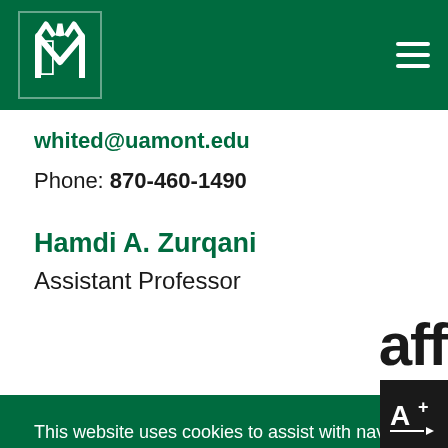[Figure (logo): University of Arkansas at Monticello logo (white stylized tree on green background) in top navigation bar with hamburger menu icon]
whited@uamont.edu
Phone: 870-460-1490
Hamdi A. Zurqani
Assistant Professor
This website uses cookies to assist with navigation, inform decisions, and promote the University of Arkansas at Monticello.
Learn more
Got it!